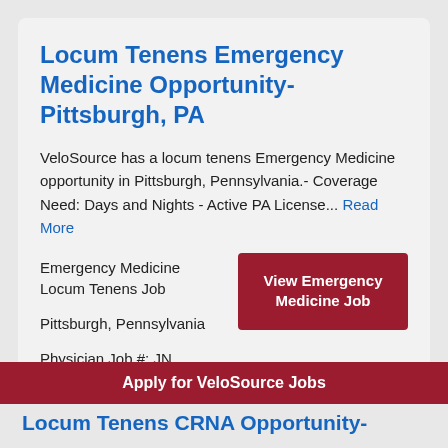Locum Tenens Emergency Medicine Opportunity- Pittsburgh, PA
VeloSource has a locum tenens Emergency Medicine opportunity in Pittsburgh, Pennsylvania.- Coverage Need: Days and Nights - Active PA License... Read More
Emergency Medicine
Locum Tenens Job
Pittsburgh, Pennsylvania
Physician Job #: JN -012022-3053
View Emergency Medicine Job
Apply for VeloSource Jobs
Locum Tenens CRNA Opportunity-